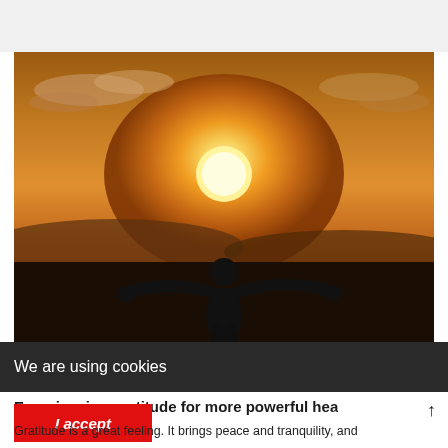[Figure (photo): Silhouette of a person with arms outstretched against a vivid orange sunset sky with clouds]
We are using cookies
Experiencing gratitude for more powerful hea
I accept
Gratitude is a great feeling. It brings peace and tranquility, and